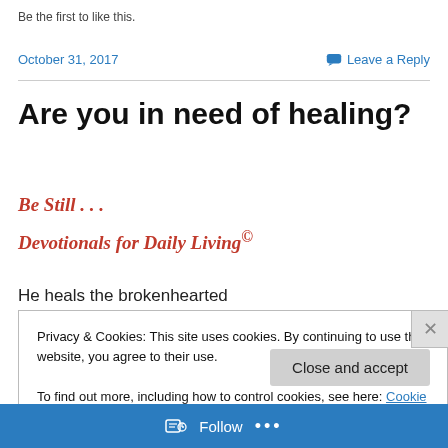Be the first to like this.
October 31, 2017   Leave a Reply
Are you in need of healing?
Be Still . . .
Devotionals for Daily Living©
He heals the brokenhearted
and binds up their wounds
Privacy & Cookies: This site uses cookies. By continuing to use this website, you agree to their use. To find out more, including how to control cookies, see here: Cookie Policy
Close and accept
Follow